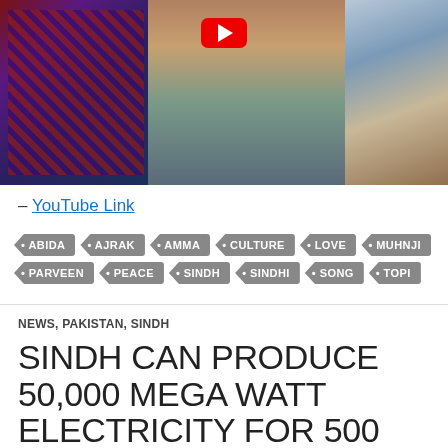[Figure (photo): Collage image of Sindh cultural scenes including architecture, traditional textiles, and people, with a red YouTube play button visible at top]
– YouTube Link
ABIDA
AJRAK
AMMA
CULTURE
LOVE
MUHNJI
PARVEEN
PEACE
SINDH
SINDHI
SONG
TOPI
NEWS, PAKISTAN, SINDH
SINDH CAN PRODUCE 50,000 MEGA WATT ELECTRICITY FOR 500...